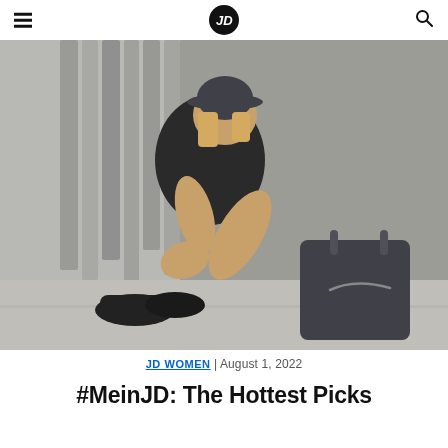JD (logo)
[Figure (photo): Young woman with blonde bob hair wearing a dark bucket hat, black sleeveless top, black biker shorts, black Nike socks and black Nike Air Huarache sneakers. She is seated on a sidewalk against a metallic building exterior, with a large dark Nike tote bag beside her.]
JD WOMEN | August 1, 2022
#MeinJD: The Hottest Picks